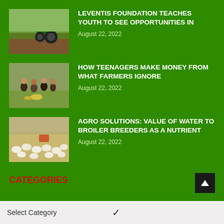LEVENTIS FOUNDATION TEACHES YOUTH TO SEE OPPORTUNITIES IN
August 22, 2022
HOW TEENAGERS MAKE MONEY FROM WHAT FARMERS IGNORE
August 22, 2022
AGRO SOLUTIONS: VALUE OF WATER TO BROILER BREEDERS AS A NUTRIENT
August 22, 2022
CATEGORIES
Select Category